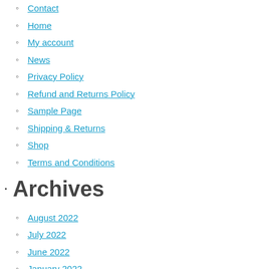Contact
Home
My account
News
Privacy Policy
Refund and Returns Policy
Sample Page
Shipping & Returns
Shop
Terms and Conditions
Archives
August 2022
July 2022
June 2022
January 2022
Categories
Graded Games Info (1)
New Release News (1)
New Stock Arrival (4)